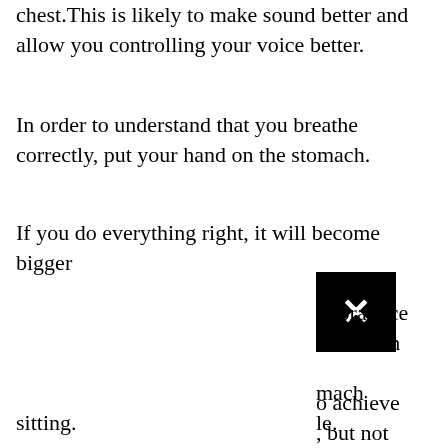chest. This is likely to make sound better and allow you controlling your voice better.
In order to understand that you breathe correctly, put your hand on the stomach.
If you do everything right, it will become bigger
[Figure (other): Black square with white X close button overlay]
to practice do it both
mach le.
o achieve , but not sitting.